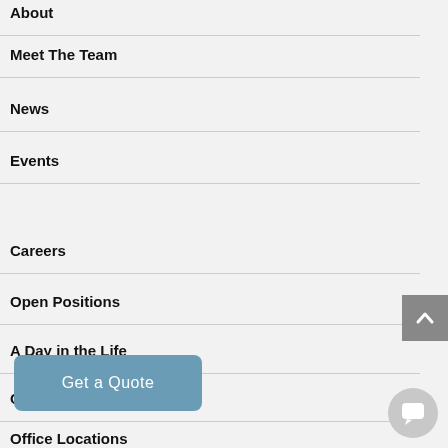About
Meet The Team
News
Events
Careers
Open Positions
A Day in the Life
Cult
Office Locations
[Figure (other): Get a Quote button overlay, blue-grey rounded rectangle]